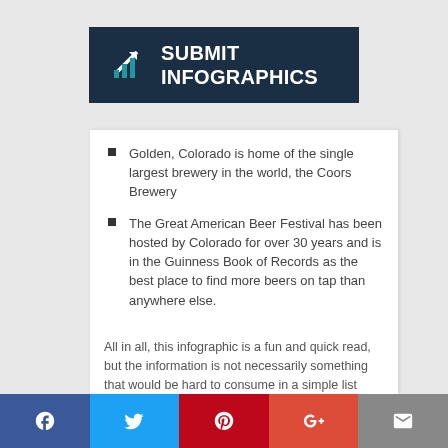SUBMIT INFOGRAPHICS
Golden, Colorado is home of the single largest brewery in the world, the Coors Brewery
The Great American Beer Festival has been hosted by Colorado for over 30 years and is in the Guinness Book of Records as the best place to find more beers on tap than anywhere else.
All in all, this infographic is a fun and quick read, but the information is not necessarily something that would be hard to consume in a simple list format.  All in all, there is a great deal of content on this infographic and not a lot of imagery. That said, I'm not sure this needed to be an
Social share bar: Facebook, Twitter, Pinterest, Google+, Email